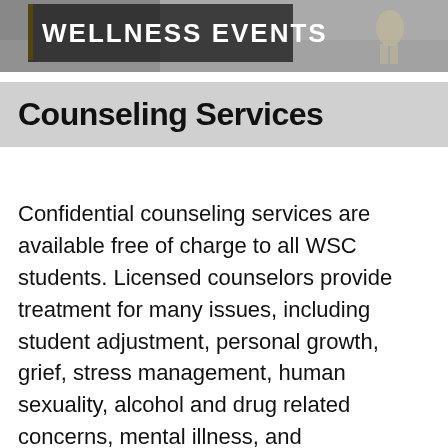[Figure (photo): Partial view of a 'WELLNESS EVENTS' banner with a photo of a person walking on a surface, with a yellow border on the left side of the text box.]
Counseling Services
Confidential counseling services are available free of charge to all WSC students. Licensed counselors provide treatment for many issues, including student adjustment, personal growth, grief, stress management, human sexuality, alcohol and drug related concerns, mental illness, and interpersonal relationships. Counselors are also available after hours by contacting campus security.